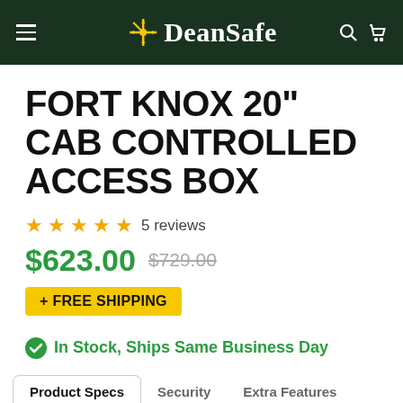DeanSafe
FORT KNOX 20" CAB CONTROLLED ACCESS BOX
5 reviews
$623.00  $729.00
+ FREE SHIPPING
In Stock, Ships Same Business Day
Product Specs  |  Security  |  Extra Features